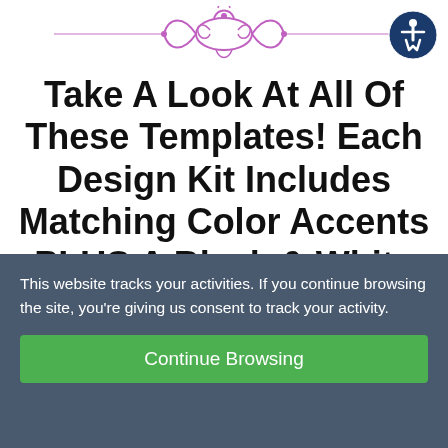[Figure (illustration): Decorative pink/purple ornamental divider with floral/scroll design and horizontal lines on either side, centered at top of page]
[Figure (illustration): Accessibility icon button: dark blue circle with white wheelchair/person symbol, top right corner]
Take A Look At All Of These Templates! Each Design Kit Includes Matching Color Accents PLUS A Black & White Version!
This website tracks your activities. If you continue browsing the site, you're giving us consent to track your activity.
Continue Browsing